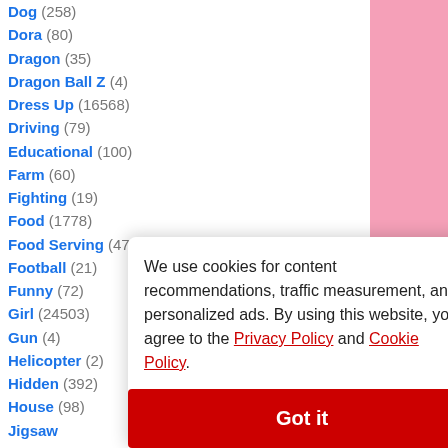Dog (258)
Dora (80)
Dragon (35)
Dragon Ball Z (4)
Dress Up (16568)
Driving (79)
Educational (100)
Farm (60)
Fighting (19)
Food (1778)
Food Serving (471)
Football (21)
Funny (72)
Girl (24503)
Gun (4)
Helicopter (2)
Hidden (392)
House (98)
Jigsaw
Kart (1)
Killing
Kissing
Kung Fu
Love (6)
Mahjong
Makeover
Match 3
Math (19)
Maze (30)
We use cookies for content recommendations, traffic measurement, and personalized ads. By using this website, you agree to the Privacy Policy and Cookie Policy.
Got it